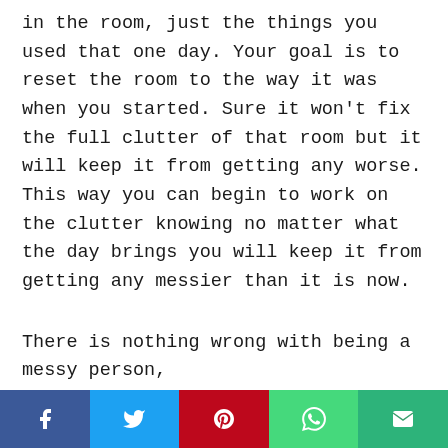in the room, just the things you used that one day. Your goal is to reset the room to the way it was when you started. Sure it won't fix the full clutter of that room but it will keep it from getting any worse. This way you can begin to work on the clutter knowing no matter what the day brings you will keep it from getting any messier than it is now.
There is nothing wrong with being a messy person,
[Figure (infographic): Social share bar with five buttons: Facebook (dark blue, f icon), Twitter (light blue, bird icon), Pinterest (red, P icon), WhatsApp (green, phone icon), Email (green, envelope icon)]